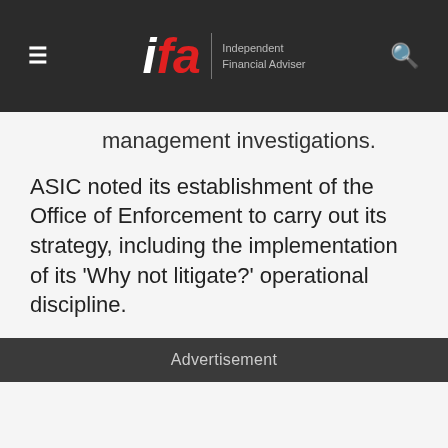ifa | Independent Financial Adviser
management investigations.
ASIC noted its establishment of the Office of Enforcement to carry out its strategy, including the implementation of its ‘Why not litigate?’ operational discipline.
Advertisement